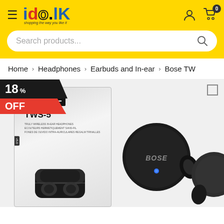[Figure (screenshot): ido.lk e-commerce website header with yellow background, hamburger menu, logo, user/cart icons, and search bar]
Home > Headphones > Earbuds and In-ear > Bose TW...
[Figure (photo): Bose TWS-5 truly wireless in-ear earbuds product image showing box packaging and individual earbuds, with 18% OFF discount badge]